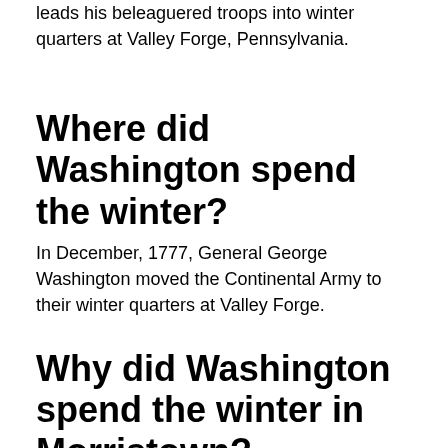leads his beleaguered troops into winter quarters at Valley Forge, Pennsylvania.
Where did Washington spend the winter?
In December, 1777, General George Washington moved the Continental Army to their winter quarters at Valley Forge.
Why did Washington spend the winter in Morristown?
In late November of 1779, General George Washington decided that the Continental Army would return to a familiar location for winter camp. He chose Morristown, NJ where